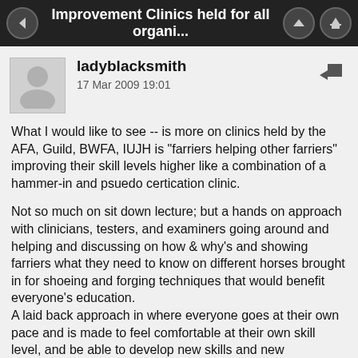Improvement Clinics held for all organi...
ladyblacksmith
17 Mar 2009 19:01
What I would like to see -- is more on clinics held by the AFA, Guild, BWFA, IUJH is "farriers helping other farriers" improving their skill levels higher like a combination of a hammer-in and psuedo certication clinic.
Not so much on sit down lecture; but a hands on approach with clinicians, testers, and examiners going around and helping and discussing on how & why's and showing farriers what they need to know on different horses brought in for shoeing and forging techniques that would benefit everyone's education.
A laid back approach in where everyone goes at their own pace and is made to feel comfortable at their own skill level, and be able to develop new skills and new approaches to their shoeing.
This I believe would be better than testing (certification) all of the time. Testing makes people nervous, and if you want